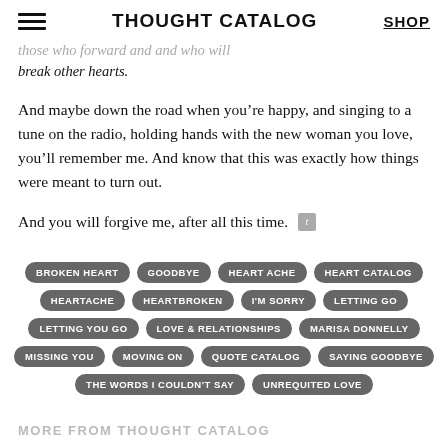THOUGHT CATALOG | SHOP
break other hearts.
And maybe down the road when you’re happy, and singing to a tune on the radio, holding hands with the new woman you love, you’ll remember me. And know that this was exactly how things were meant to turn out.
And you will forgive me, after all this time.
BROKEN HEART
GOODBYE
HEART ACHE
HEART CATALOG
HEARTACHE
HEARTBROKEN
I'M SORRY
LETTING GO
LETTING YOU GO
LOVE & RELATIONSHIPS
MARISA DONNELLY
MISSING YOU
MOVING ON
QUOTE CATALOG
SAYING GOODBYE
THE WORDS I COULDN'T SAY
UNREQUITED LOVE
MORE FROM THOUGHT CATALOG